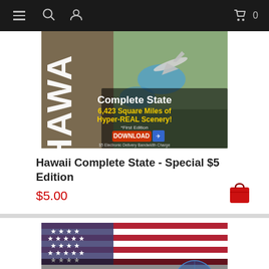Navigation bar with menu, search, user, cart icons and 0
[Figure (screenshot): Hawaii Complete State flight simulator scenery product image - shows aerial view with text: Complete State, 6,423 Square Miles of Hyper-REAL Scenery!, Free Edition DOWNLOAD, $5 Electronic Delivery Bandwidth Charge]
Hawaii Complete State - Special $5 Edition
$5.00
[Figure (screenshot): PC Aviator MegaScenery Earth product image with American flag background and globe logo]